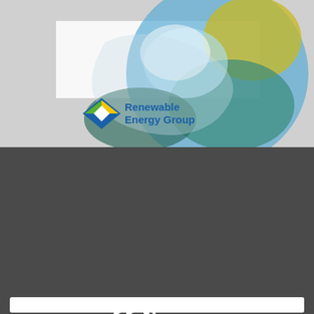[Figure (illustration): Renewable Energy Group banner image showing a globe/water swirl visual with the Renewable Energy Group logo (blue and green diamond shape) and company name in blue text on a light background]
[Figure (logo): CCJ by Randall Reilly logo in white on dark gray background]
Newsletter Just for Trucking Professionals
Get trucking news and insights, plus management tips and regulation updates — delivered straight to your inbox.